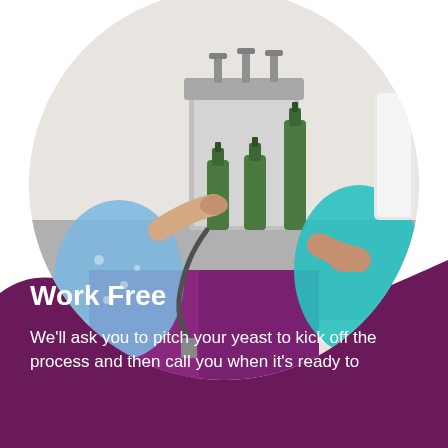[Figure (photo): Circular cropped photo of two people filling green wine bottles using a bottle-filling machine in what appears to be a winery or homebrew shop. The woman on the left wears a floral blue top; the man on the right wears a teal/cyan shirt.]
Work Free
We'll ask you to pitch your yeast to kick off the process and then call you when it's ready to